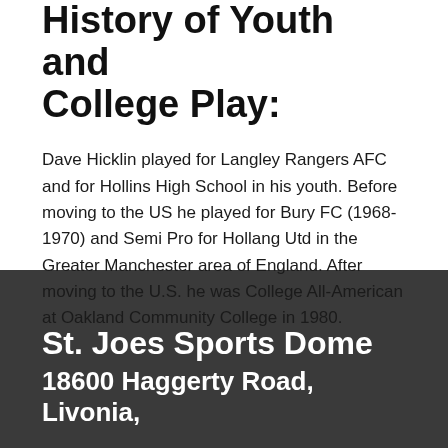History of Youth and College Play:
Dave Hicklin played for Langley Rangers AFC and for Hollins High School in his youth. Before moving to the US he played for Bury FC (1968-1970) and Semi Pro for Hollang Utd in the Greater Manchester area of England. After moving to the U.S. he was College All-American at Oakland Community College in 1980.
St. Joes Sports Dome
18600 Haggerty Road, Livonia,